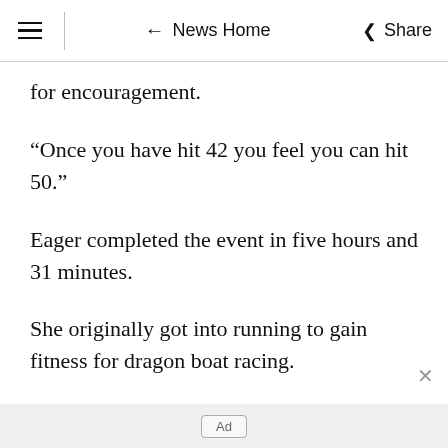≡  ← News Home  ⋘ Share
for encouragement.
“Once you have hit 42 you feel you can hit 50.”
Eager completed the event in five hours and 31 minutes.
She originally got into running to gain fitness for dragon boat racing.
Eager did her first 5km event five years ago, and she has continued on ever since